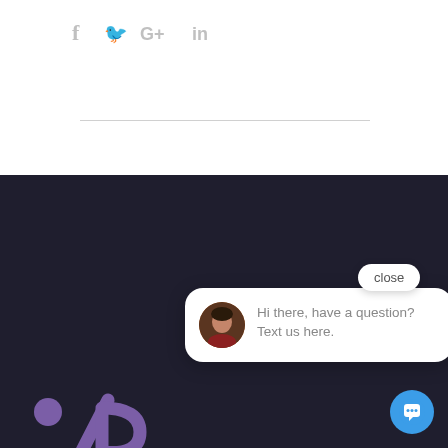[Figure (infographic): Social media share icons: Facebook (f), Twitter (bird), Google+ (G+), LinkedIn (in) in gray]
[Figure (logo): PCBANCARD logo — stylized purple slash/P monogram on dark background]
[Figure (infographic): Chat widget with avatar photo of a woman, text: Hi there, have a question? Text us here. With a close button and blue chat icon button.]
PCBANCARD is a (Independent Sale own horn, but we the Merchant Services Industry. As one of the first companies in the country with a VS/MC approved Non-Cash Adjustment Program, we pride ourselves in being able to help businesses fight back against ever-rising credit card processing fees.